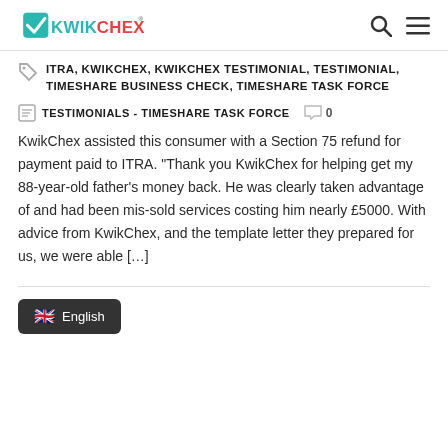KwikChex logo, search icon, menu icon
ITRA, KWIKCHEX, KWIKCHEX TESTIMONIAL, TESTIMONIAL, TIMESHARE BUSINESS CHECK, TIMESHARE TASK FORCE
TESTIMONIALS - TIMESHARE TASK FORCE   0
KwikChex assisted this consumer with a Section 75 refund for payment paid to ITRA. “Thank you KwikChex for helping get my 88-year-old father’s money back. He was clearly taken advantage of and had been mis-sold services costing him nearly £5000. With advice from KwikChex, and the template letter they prepared for us, we were able […]
English